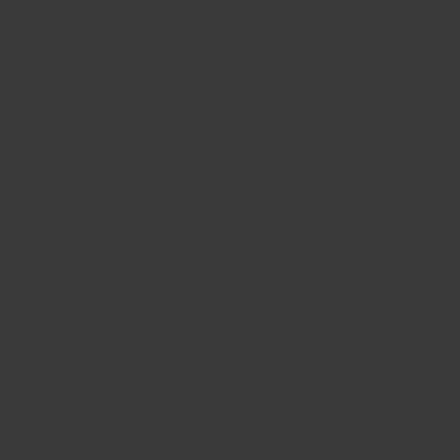mankind are more disposed to themselves by abolishing the a long train of abuses and usu evinces a design to reduce the is their duty, to throw off such their future security. –Such ha colonies; and such is now the former systems of governmen Britain is a history of repeated object the establishment of am this, let facts be submitted to a
He has refused his assent to l the public good.
He has forbidden his governo importance, unless suspende obtained; and when so suspe them.
He has refused to pass other people, unless those people w the legislature, a right inestima